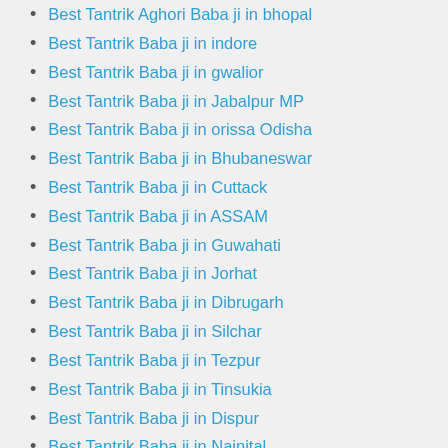Best Tantrik Aghori Baba ji in bhopal
Best Tantrik Baba ji in indore
Best Tantrik Baba ji in gwalior
Best Tantrik Baba ji in Jabalpur MP
Best Tantrik Baba ji in orissa Odisha
Best Tantrik Baba ji in Bhubaneswar
Best Tantrik Baba ji in Cuttack
Best Tantrik Baba ji in ASSAM
Best Tantrik Baba ji in Guwahati
Best Tantrik Baba ji in Jorhat
Best Tantrik Baba ji in Dibrugarh
Best Tantrik Baba ji in Silchar
Best Tantrik Baba ji in Tezpur
Best Tantrik Baba ji in Tinsukia
Best Tantrik Baba ji in Dispur
Best Tantrik Baba ji in Nainital
Best Tantrik Baba ji in RANCHI
Best Tantrik Baba ji in Jamshedpur
Best Tantrik Baba ji in SILIGURI
Best Tantrik Baba ji in Vijayawada
Best Tantrik Baba ji in Aurangabad
Best Tantrik Baba ji in Raipur